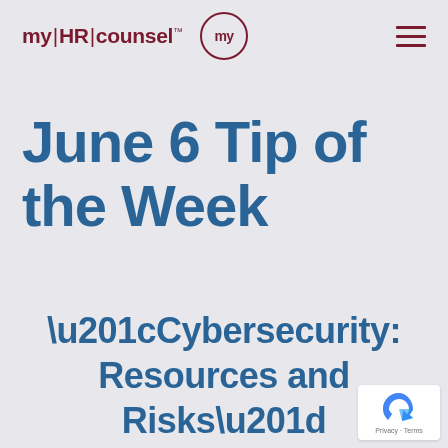myHR|counsel™
June 6 Tip of the Week
“Cybersecurity: Resources and Risks”